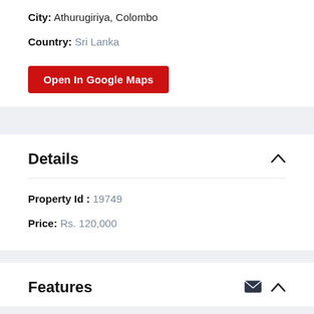City: Athurugiriya, Colombo
Country: Sri Lanka
Open In Google Maps
Details
Property Id : 19749
Price: Rs. 120,000
Features